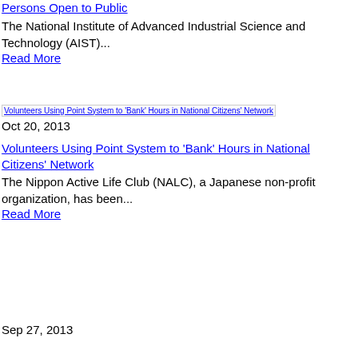Persons Open to Public
The National Institute of Advanced Industrial Science and Technology (AIST)...
Read More
[Figure (photo): Volunteers Using Point System to 'Bank' Hours in National Citizens' Network thumbnail image]
Oct 20, 2013
Volunteers Using Point System to 'Bank' Hours in National Citizens' Network
The Nippon Active Life Club (NALC), a Japanese non-profit organization, has been...
Read More
Sep 27, 2013